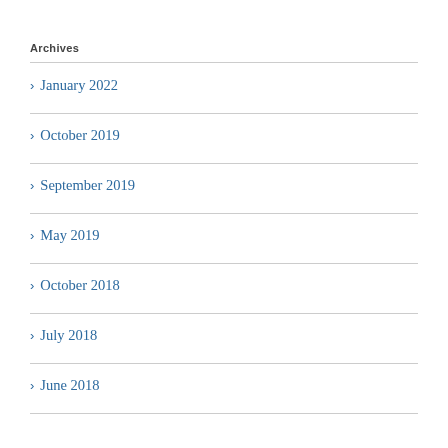Archives
January 2022
October 2019
September 2019
May 2019
October 2018
July 2018
June 2018